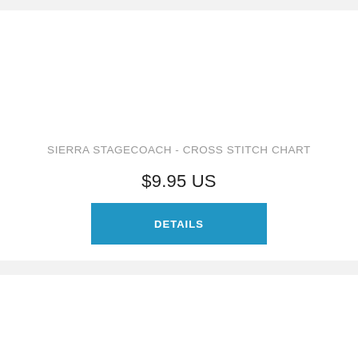SIERRA STAGECOACH - CROSS STITCH CHART
$9.95 US
DETAILS
CHRISTMAS IN RANTOUL - CROSS STITCH